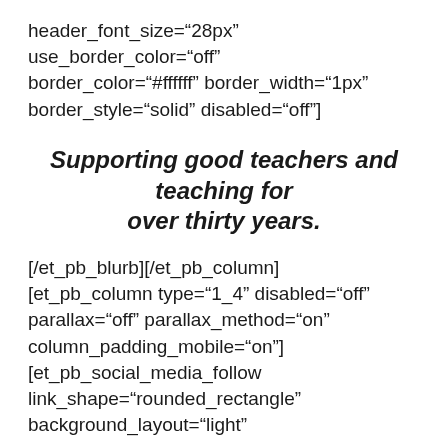header_font_size="28px" use_border_color="off" border_color="#ffffff" border_width="1px" border_style="solid" disabled="off"]
Supporting good teachers and teaching for over thirty years.
[/et_pb_blurb][/et_pb_column] [et_pb_column type="1_4" disabled="off" parallax="off" parallax_method="on" column_padding_mobile="on"] [et_pb_social_media_follow link_shape="rounded_rectangle" background_layout="light"